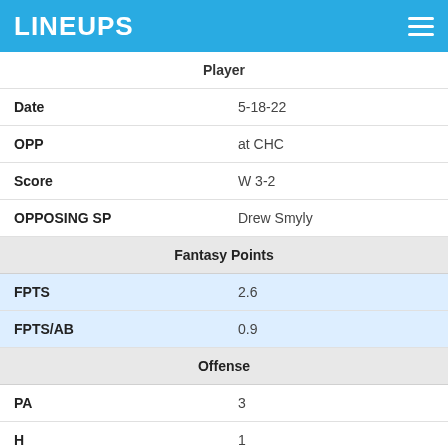LINEUPS
| Player |  |
| --- | --- |
| Date | 5-18-22 |
| OPP | at CHC |
| Score | W 3-2 |
| OPPOSING SP | Drew Smyly |
| Fantasy Points |  |
| FPTS | 2.6 |
| FPTS/AB | 0.9 |
| Offense |  |
| PA | 3 |
| H | 1 |
| 2B | 0 |
| 3B | 0 |